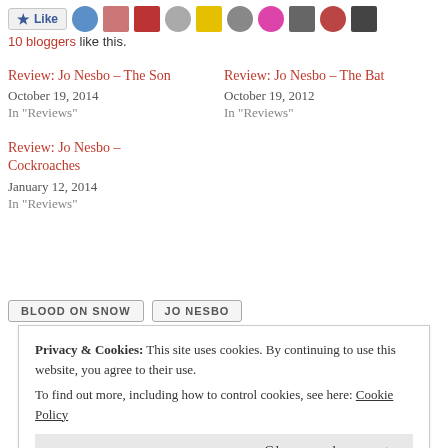[Figure (other): Like button and row of blogger avatar thumbnails]
10 bloggers like this.
Review: Jo Nesbo – The Son
October 19, 2014
In "Reviews"
Review: Jo Nesbo – The Bat
October 19, 2012
In "Reviews"
Review: Jo Nesbo – Cockroaches
January 12, 2014
In "Reviews"
BLOOD ON SNOW
JO NESBO
Privacy & Cookies: This site uses cookies. By continuing to use this website, you agree to their use.
To find out more, including how to control cookies, see here: Cookie Policy
Close and accept